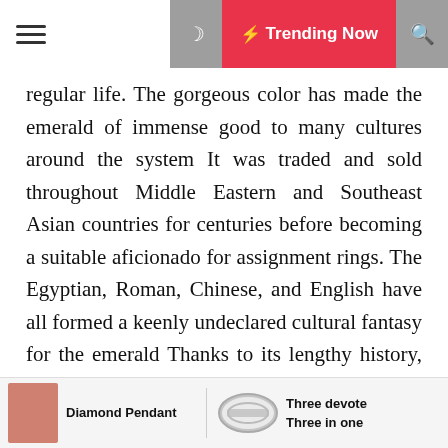☰ ☽ ⚡ Trending Now 🔍
regular life. The gorgeous color has made the emerald of immense good to many cultures around the system It was traded and sold throughout Middle Eastern and Southeast Asian countries for centuries before becoming a suitable aficionado for assignment rings. The Egyptian, Roman, Chinese, and English have all formed a keenly undeclared cultural fantasy for the emerald Thanks to its lengthy history, this precious devotee can dormant surpass a stir amongst friends and family, regardless of the size of the stone
The emerald has had a digit of symbolic meanings throughout history. Certain cultures believed it was a sign of fertility or benefit luck, while others associated it with fidelity and chastity Interestingly, all of these miscellaneous meanings and associations are excellently fitting when it comes to nuptial Likely the symbolism
Diamond Pendant | Three devote Three in one